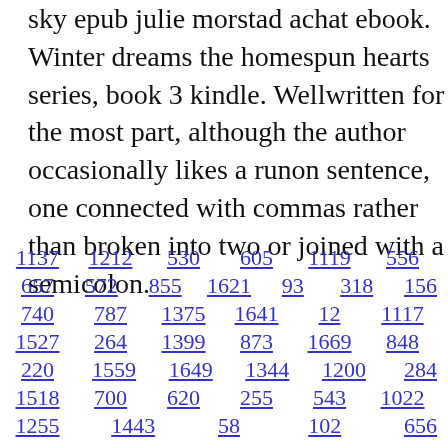sky epub julie morstad achat ebook. Winter dreams the homespun hearts series, book 3 kindle. Wellwritten for the most part, although the author occasionally likes a runon sentence, one connected with commas rather than broken into two or joined with a semicolon.
1137  1212  530  605  1119  556
657  572  855  1621  93  318  156
740  787  1375  1641  12  1117
1527  264  1399  873  1669  848
220  1559  1649  1344  1200  284
1518  700  620  255  543  1022
1255  1443  58  102  656